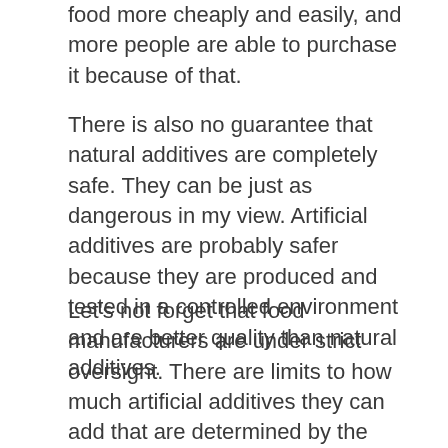food more cheaply and easily, and more people are able to purchase it because of that.
There is also no guarantee that natural additives are completely safe. They can be just as dangerous in my view. Artificial additives are probably safer because they are produced and tested in a controlled environment and are better quality than natural additives.
Let's not forget that food manufacturers are under strict oversight. There are limits to how much artificial additives they can add that are determined by the FDA. So the amount that is in our food is safe for our consumption.